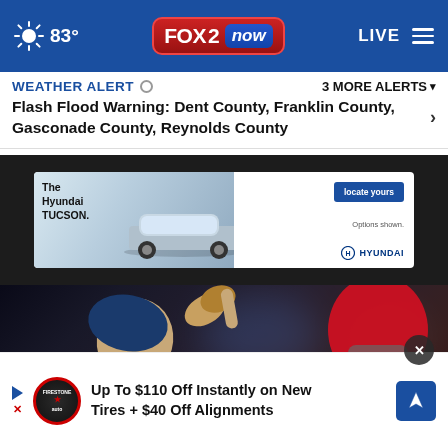83° FOX 2 now LIVE
WEATHER ALERT  3 MORE ALERTS
Flash Flood Warning: Dent County, Franklin County, Gasconade County, Reynolds County
[Figure (screenshot): Hyundai TUCSON advertisement banner. Text: The Hyundai TUCSON. locate yours. Options shown. HYUNDAI logo.]
[Figure (photo): Baseball player in Cubs uniform celebrating with finger pointed upward, catcher in red helmet visible on right side.]
Up To $110 Off Instantly on New Tires + $40 Off Alignments